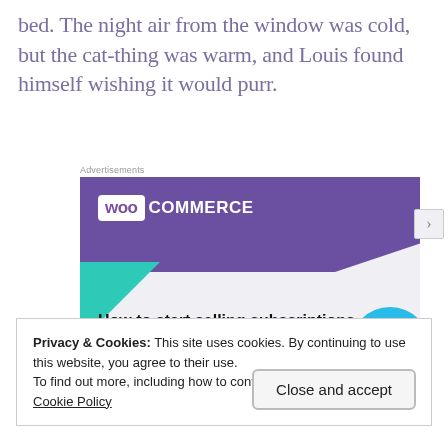bed. The night air from the window was cold, but the cat-thing was warm, and Louis found himself wishing it would purr.
[Figure (screenshot): WooCommerce advertisement banner with purple header, teal triangle, and blue arc. Text reads 'How to start selling subscriptions online']
Privacy & Cookies: This site uses cookies. By continuing to use this website, you agree to their use.
To find out more, including how to control cookies, see here:
Cookie Policy
Close and accept